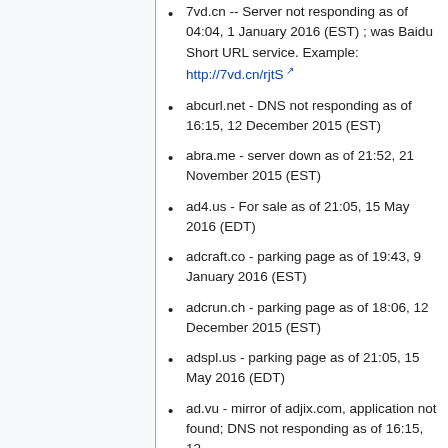7vd.cn -- Server not responding as of 04:04, 1 January 2016 (EST) ; was Baidu Short URL service. Example: http://7vd.cn/rjtS
abcurl.net - DNS not responding as of 16:15, 12 December 2015 (EST)
abra.me - server down as of 21:52, 21 November 2015 (EST)
ad4.us - For sale as of 21:05, 15 May 2016 (EDT)
adcraft.co - parking page as of 19:43, 9 January 2016 (EST)
adcrun.ch - parking page as of 18:06, 12 December 2015 (EST)
adspl.us - parking page as of 21:05, 15 May 2016 (EDT)
ad.vu - mirror of adjix.com, application not found; DNS not responding as of 16:15, 12